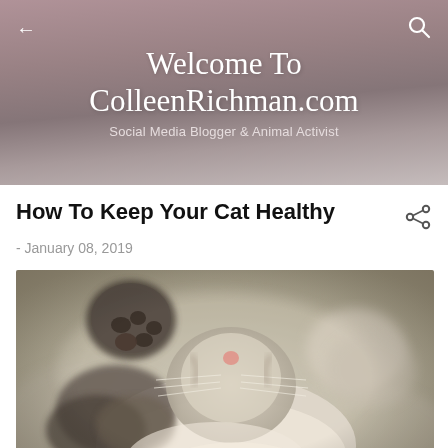Welcome To ColleenRichman.com — Social Media Blogger & Animal Activist
How To Keep Your Cat Healthy
- January 08, 2019
[Figure (photo): A tabby kitten lying on its back with paws raised up, showing its belly and face upside-down, in a soft blurred outdoor setting]